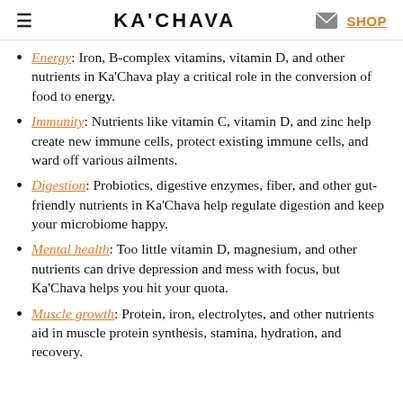KA'CHAVA  SHOP
Energy: Iron, B-complex vitamins, vitamin D, and other nutrients in Ka'Chava play a critical role in the conversion of food to energy.
Immunity: Nutrients like vitamin C, vitamin D, and zinc help create new immune cells, protect existing immune cells, and ward off various ailments.
Digestion: Probiotics, digestive enzymes, fiber, and other gut-friendly nutrients in Ka'Chava help regulate digestion and keep your microbiome happy.
Mental health: Too little vitamin D, magnesium, and other nutrients can drive depression and mess with focus, but Ka'Chava helps you hit your quota.
Muscle growth: Protein, iron, electrolytes, and other nutrients aid in muscle protein synthesis, stamina, hydration, and recovery.